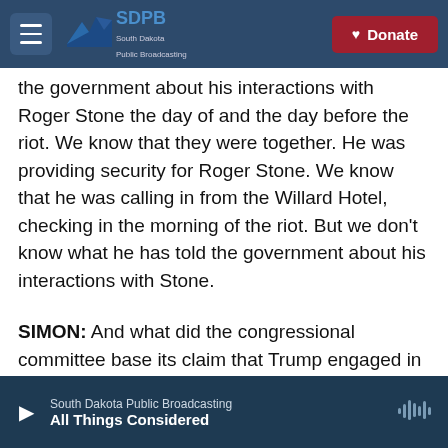SDPB South Dakota Public Broadcasting | Donate
the government about his interactions with Roger Stone the day of and the day before the riot. We know that they were together. He was providing security for Roger Stone. We know that he was calling in from the Willard Hotel, checking in the morning of the riot. But we don't know what he has told the government about his interactions with Stone.
SIMON: And what did the congressional committee base its claim that Trump engaged in a criminal conspiracy to overturn the election?
WHEELER: It's the same crime as DOJ is using, the
South Dakota Public Broadcasting | All Things Considered